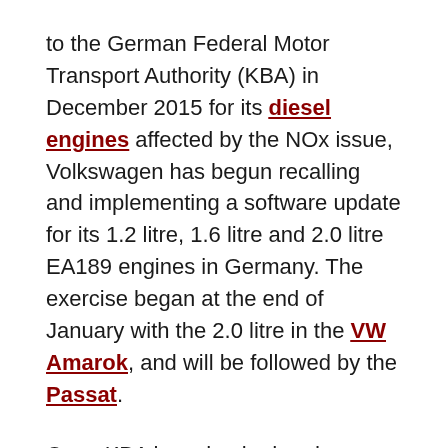to the German Federal Motor Transport Authority (KBA) in December 2015 for its diesel engines affected by the NOx issue, Volkswagen has begun recalling and implementing a software update for its 1.2 litre, 1.6 litre and 2.0 litre EA189 engines in Germany. The exercise began at the end of January with the 2.0 litre in the VW Amarok, and will be followed by the Passat.
Once KBA has checked and approved the measures, VW customers will be contacted and informed of the recall. They will then be requested to make an appointment with a VW service partner. The recall exercise is expected to be carried out throughout 2016.